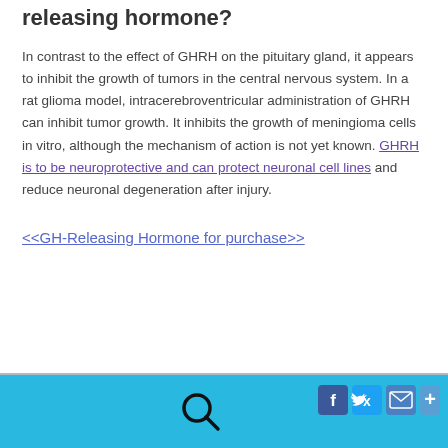releasing hormone?
In contrast to the effect of GHRH on the pituitary gland, it appears to inhibit the growth of tumors in the central nervous system. In a rat glioma model, intracerebroventricular administration of GHRH can inhibit tumor growth. It inhibits the growth of meningioma cells in vitro, although the mechanism of action is not yet known. GHRH is to be neuroprotective and can protect neuronal cell lines and reduce neuronal degeneration after injury.
<<GH-Releasing Hormone for purchase>>
[Figure (infographic): Website footer bar in cyan/blue with a search icon (magnifying glass) in the center and four social/sharing buttons on the right: Facebook (f), Twitter (bird), Email (envelope), and a plus (+) button.]